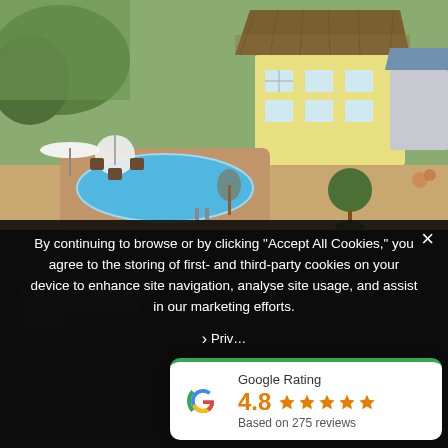[Figure (photo): Aerial view of a thatched-roof cottage with a swimming pool, outdoor furniture with umbrellas, and manicured garden]
By continuing to browse or by clicking “Accept All Cookies,” you agree to the storing of first- and third-party cookies on your device to enhance site navigation, analyse site usage, and assist in our marketing efforts.
› Priv…
[Figure (infographic): Google Rating widget showing 4.8 stars based on 275 reviews, with Google G logo and green top border]